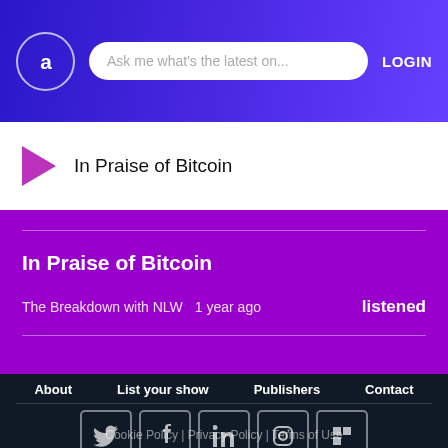Ask me what's the latest on... LOGIN
In Praise of Bitcoin
In Praise of Bitcoin
The Breakdown with NLW  1 year ago  listened
About  List your show  Publishers  Contact  Cookie Policy | Privacy Policy | Terms of Use